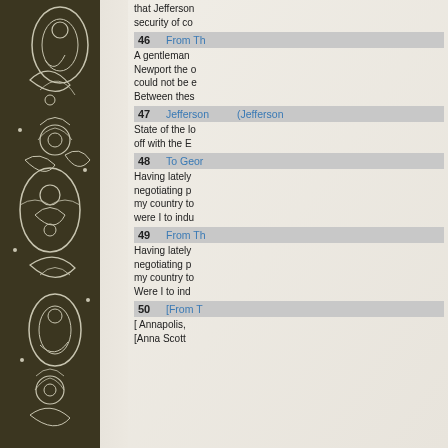[Figure (illustration): Dark brown background with white floral/paisley decorative pattern along the left margin of the page]
that Jefferson security of co
46   From Th
A gentleman Newport the o could not be e Between thes
47   Jefferson (Jefferson
State of the lo off with the E
48   To Geor
Having lately negotiating p my country to were I to indu
49   From Th
Having lately negotiating p my country to Were I to ind
50   [From T
[ Annapolis, [Anna Scott